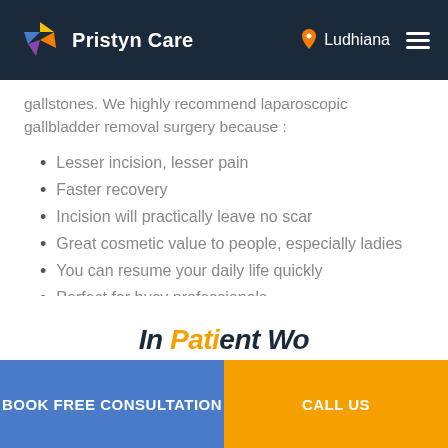Pristyn Care | Ludhiana
gallstones. We highly recommend laparoscopic gallbladder removal surgery because :
Lesser incision, lesser pain
Faster recovery
Incision will practically leave no scar
Great cosmetic value to people, especially ladies
You can resume your daily life quickly
Perfect for busy professionals
Insurance covered
BOOK FREE CONSULTATION | CALL US